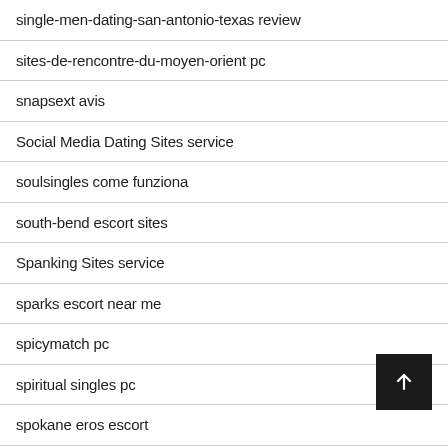single-men-dating-san-antonio-texas review
sites-de-rencontre-du-moyen-orient pc
snapsext avis
Social Media Dating Sites service
soulsingles come funziona
south-bend escort sites
Spanking Sites service
sparks escort near me
spicymatch pc
spiritual singles pc
spokane eros escort